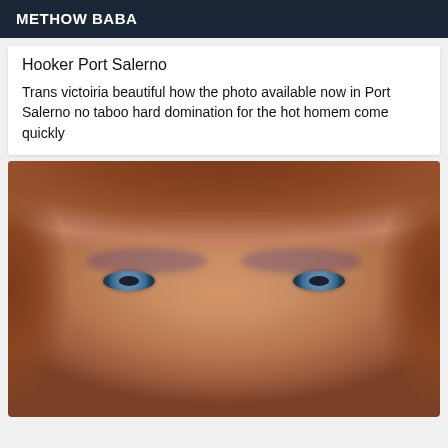METHOW BABA
Hooker Port Salerno
Trans victoiria beautiful how the photo available now in Port Salerno no taboo hard domination for the hot homem come quickly
[Figure (photo): Close-up photo of a person with curly reddish-brown hair, blue-grey eyes with purple eyeshadow makeup, looking directly at the camera.]